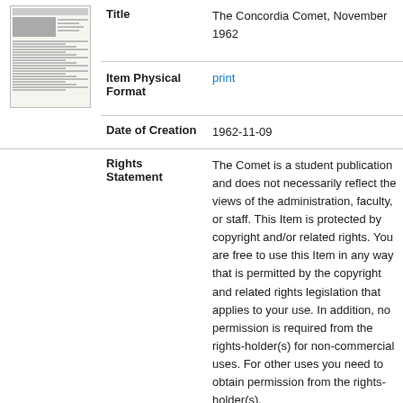[Figure (photo): Thumbnail image of The Concordia Comet newspaper front page]
| Title | The Concordia Comet, November 1962 |
| Item Physical Format | print |
| Date of Creation | 1962-11-09 |
| Rights Statement | The Comet is a student publication and does not necessarily reflect the views of the administration, faculty, or staff. This Item is protected by copyright and/or related rights. You are free to use this Item in any way that is permitted by the copyright and related rights legislation that applies to your use. In addition, no permission is required from the rights-holder(s) for non-commercial uses. For other uses you need to obtain permission from the rights-holder(s). |